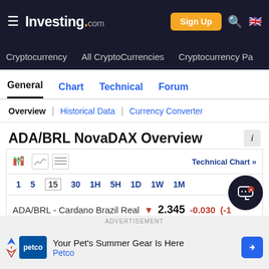Investing.com
Cryptocurrency | All CryptoCurrencies | Cryptocurrency Pa
General | Chart | Technical | Forum
Overview | Historical Data | Currency Converter
ADA/BRL NovaDAX Overview
ADA/BRL - Cardano Brazil Real ▼ 2.345 -0.030 (-1...
ADVERTISEMENT
Your Pet's Summer Gear Is Here Petco